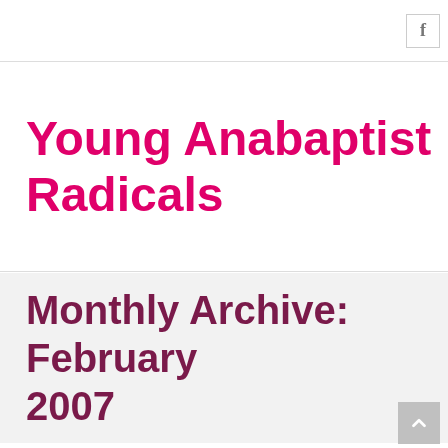f
Young Anabaptist Radicals
Monthly Archive: February 2007
Ins and Outs
It's a concept I learned in Sociology 101.
To have a group, you've got to have a boundary. Something that